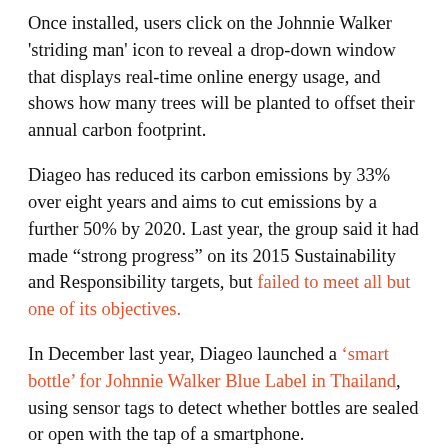Once installed, users click on the Johnnie Walker 'striding man' icon to reveal a drop-down window that displays real-time online energy usage, and shows how many trees will be planted to offset their annual carbon footprint.
Diageo has reduced its carbon emissions by 33% over eight years and aims to cut emissions by a further 50% by 2020. Last year, the group said it had made “strong progress” on its 2015 Sustainability and Responsibility targets, but failed to meet all but one of its objectives.
In December last year, Diageo launched a ‘smart bottle’ for Johnnie Walker Blue Label in Thailand, using sensor tags to detect whether bottles are sealed or open with the tap of a smartphone.